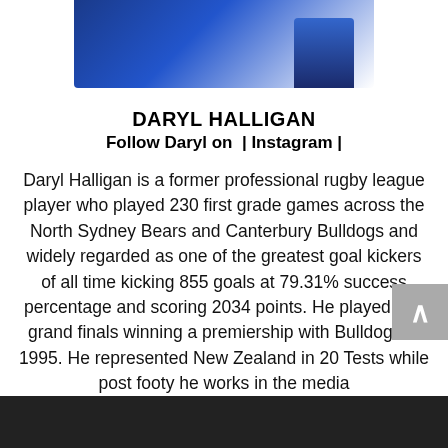[Figure (photo): Partial photo of Daryl Halligan in a blue and white rugby league jersey, shown from the shoulders up, cropped at top of page]
DARYL HALLIGAN
Follow Daryl on  | Instagram |
Daryl Halligan is a former professional rugby league player who played 230 first grade games across the North Sydney Bears and Canterbury Bulldogs and widely regarded as one of the greatest goal kickers of all time kicking 855 goals at 79.31% success percentage and scoring 2034 points. He played in 3 grand finals winning a premiership with Bulldogs in 1995. He represented New Zealand in 20 Tests while post footy he works in the media